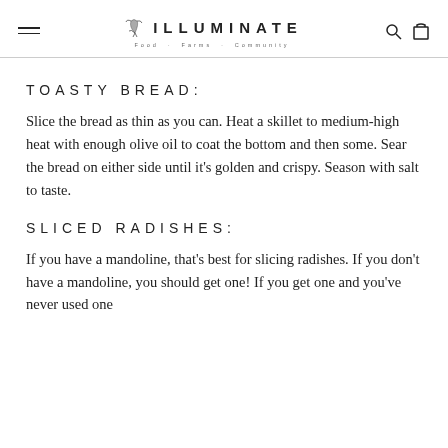ILLUMINATE Food · Farms · Community
TOASTY BREAD:
Slice the bread as thin as you can. Heat a skillet to medium-high heat with enough olive oil to coat the bottom and then some. Sear the bread on either side until it's golden and crispy. Season with salt to taste.
SLICED RADISHES:
If you have a mandoline, that's best for slicing radishes. If you don't have a mandoline, you should get one! If you get one and you've never used one